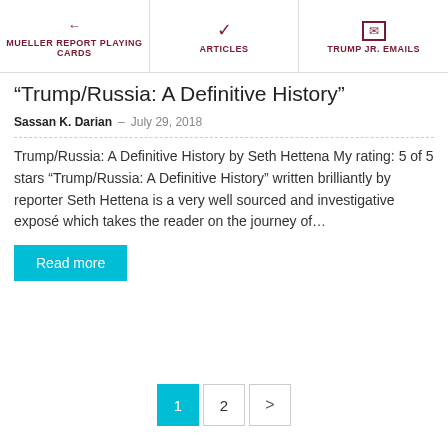MUELLER REPORT PLAYING CARDS | ARTICLES | TRUMP JR. EMAILS
“Trump/Russia: A Definitive History”
Sassan K. Darian - July 29, 2018
Trump/Russia: A Definitive History by Seth Hettena My rating: 5 of 5 stars “Trump/Russia: A Definitive History” written brilliantly by reporter Seth Hettena is a very well sourced and investigative exposé which takes the reader on the journey of…
Read more